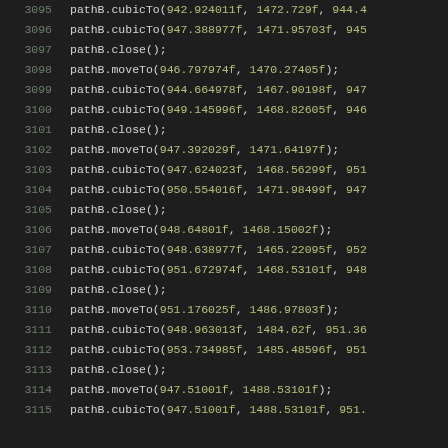[Figure (screenshot): Code editor screenshot showing source code lines 3095-3115 with path drawing commands (pathB.cubicTo, pathB.close, pathB.moveTo) with numeric float arguments, displayed in a dark theme code editor with line numbers in gray-green and numeric arguments highlighted in yellow-green.]